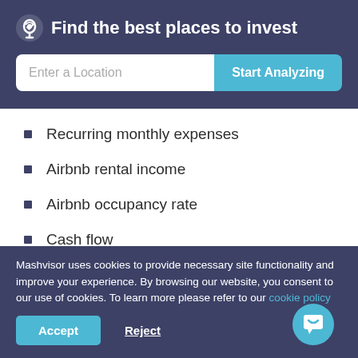Find the best places to invest
[Figure (screenshot): Search bar with input field 'Enter a Location' and blue 'Start Analyzing' button]
Recurring monthly expenses
Airbnb rental income
Airbnb occupancy rate
Cash flow
Airbnb cash on cash return
Airbnb cap rate
Mashvisor uses cookies to provide necessary site functionality and improve your experience. By browsing our website, you consent to our use of cookies. To learn more please refer to our cookie policy
Accept  Reject